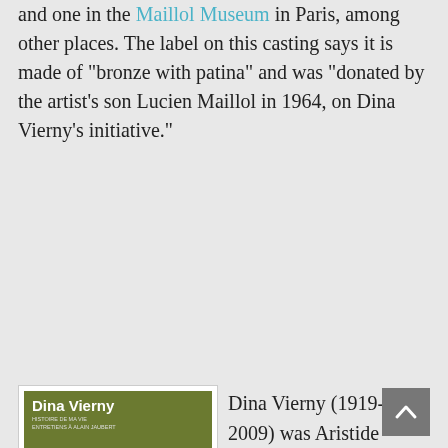and one in the Maillol Museum in Paris, among other places. The label on this casting says it is made of "bronze with patina" and was "donated by the artist's son Lucien Maillol in 1964, on Dina Vierny's initiative."
[Figure (photo): Book cover of 'Dina Vierny, Histoire de ma Vie, Entretiens à Alain Jaubert' showing black and white photo of Dina Vierny and Aristide Maillol]
Dina Vierny, The Story of my Life (interviews with Alain Jaubert)
Dina Vierny (1919-2009) was Aristide Maillol's model for the last ten years of his life, and was later his artistic executor and heiress.